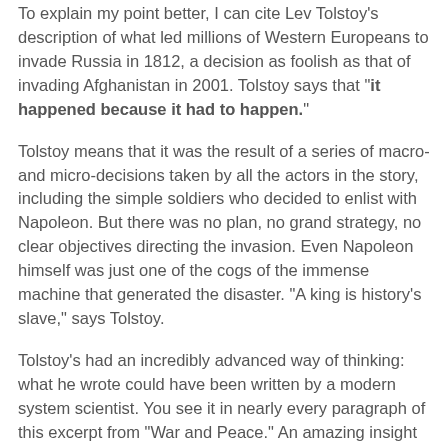To explain my point better, I can cite Lev Tolstoy's description of what led millions of Western Europeans to invade Russia in 1812, a decision as foolish as that of invading Afghanistan in 2001. Tolstoy says that "it happened because it had to happen."
Tolstoy means that it was the result of a series of macro- and micro-decisions taken by all the actors in the story, including the simple soldiers who decided to enlist with Napoleon. But there was no plan, no grand strategy, no clear objectives directing the invasion. Even Napoleon himself was just one of the cogs of the immense machine that generated the disaster. "A king is history's slave," says Tolstoy.
Tolstoy's had an incredibly advanced way of thinking: what he wrote could have been written by a modern system scientist. You see it in nearly every paragraph of this excerpt from "War and Peace." An amazing insight on the reason for the fall of large empires at the hands of what Tolst...